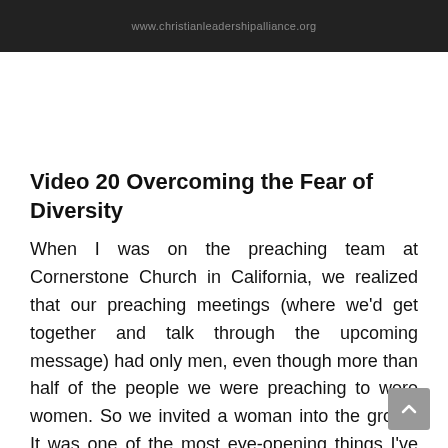www.christianleadershipalliance.org
Video 20 Overcoming the Fear of Diversity
When I was on the preaching team at Cornerstone Church in California, we realized that our preaching meetings (where we'd get together and talk through the upcoming message) had only men, even though more than half of the people we were preaching to were women. So we invited a woman into the group. It was one of the most eye-opening things I've ever